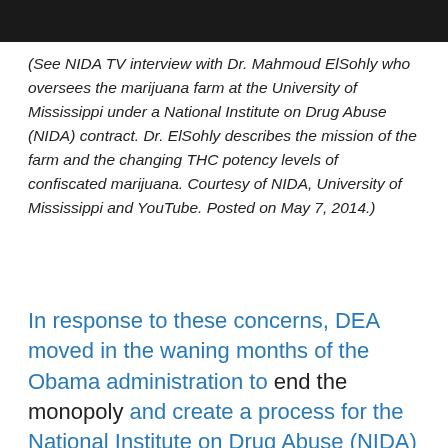[Figure (photo): Dark photograph at top of page, appears to be an outdoor scene.]
(See NIDA TV interview with Dr. Mahmoud ElSohly who oversees the marijuana farm at the University of Mississippi under a National Institute on Drug Abuse (NIDA) contract. Dr. ElSohly describes the mission of the farm and the changing THC potency levels of confiscated marijuana. Courtesy of NIDA, University of Mississippi and YouTube. Posted on May 7, 2014.)
In response to these concerns, DEA moved in the waning months of the Obama administration to end the monopoly and create a process for the National Institute on Drug Abuse (NIDA)